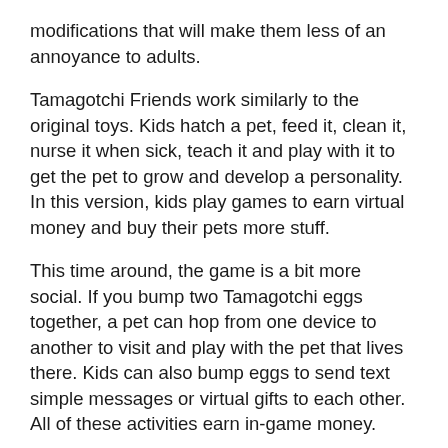modifications that will make them less of an annoyance to adults.
Tamagotchi Friends work similarly to the original toys. Kids hatch a pet, feed it, clean it, nurse it when sick, teach it and play with it to get the pet to grow and develop a personality. In this version, kids play games to earn virtual money and buy their pets more stuff.
This time around, the game is a bit more social. If you bump two Tamagotchi eggs together, a pet can hop from one device to another to visit and play with the pet that lives there. Kids can also bump eggs to send text simple messages or virtual gifts to each other. All of these activities earn in-game money.
When kids need to go to school or focus on other activities, they can pause their Tamagotchi to eliminate worries about their pets. If they do neglect their pet, the Tamagotchi won't "die"; instead, it goes to space, leaving a note behind. Less traumatic!